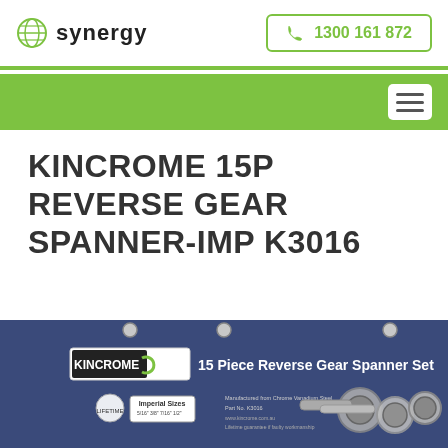synergy  1300 161 872
KINCROME 15P REVERSE GEAR SPANNER-IMP K3016
[Figure (photo): Product photo of Kincrome 15 Piece Reverse Gear Spanner Set (K3016) displayed on a dark blue roll-out tool holder/pouch, showing spanner wrenches and the product label with Imperial Sizes listed]